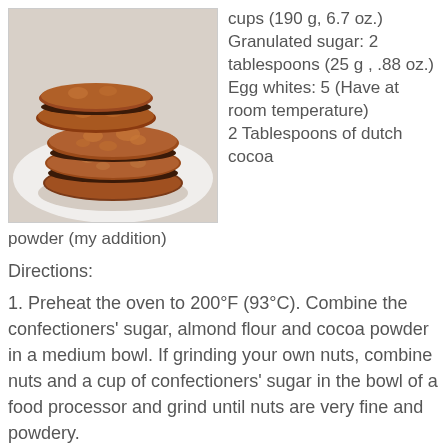[Figure (photo): Stack of chocolate macarons on a white plate]
cups (190 g, 6.7 oz.)
Granulated sugar: 2 tablespoons (25 g , .88 oz.)
Egg whites: 5 (Have at room temperature)
2 Tablespoons of dutch cocoa powder (my addition)
Directions:
1. Preheat the oven to 200°F (93°C). Combine the confectioners' sugar, almond flour and cocoa powder in a medium bowl. If grinding your own nuts, combine nuts and a cup of confectioners' sugar in the bowl of a food processor and grind until nuts are very fine and powdery.
2. Beat the egg whites in the clean dry bowl of a stand mixer until they hold soft peaks. Slowly add the granulated sugar